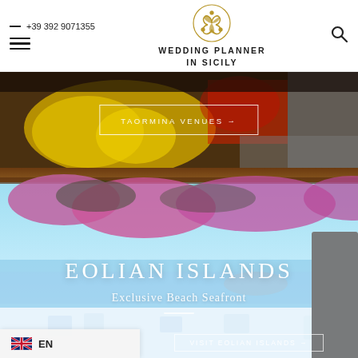+39 392 9071355 | WEDDING PLANNER IN SICILY
[Figure (photo): Taormina venues section with lemons and flowers background, with a bordered button overlay reading TAORMINA VENUES →]
[Figure (photo): Eolian Islands beach seafront photo with pink bougainvillea overhead, white Mediterranean terrace and sea view, with text overlay EOLIAN ISLANDS / Exclusive Beach Seafront and a VISIT EOLIAN ISLANDS → button at bottom]
EN